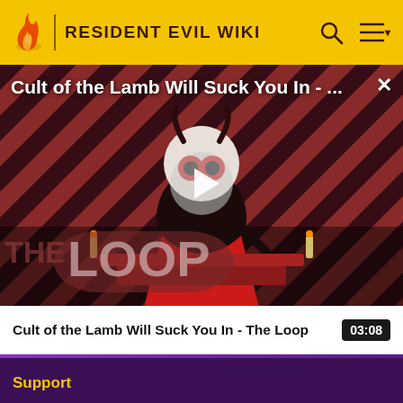RESIDENT EVIL WIKI
[Figure (screenshot): Video thumbnail showing Cult of the Lamb character on a striped red/dark background with 'THE LOOP' text overlay and a play button in the center]
Cult of the Lamb Will Suck You In - ...
Cult of the Lamb Will Suck You In - The Loop  03:08
Support